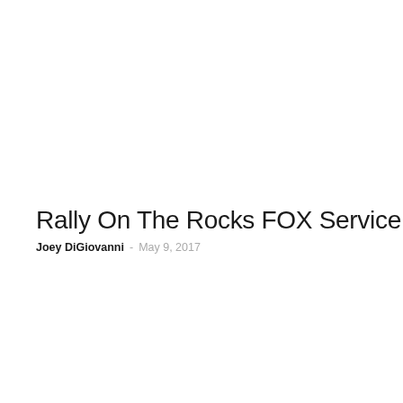Rally On The Rocks FOX Service & Upgrade
Joey DiGiovanni - May 9, 2017